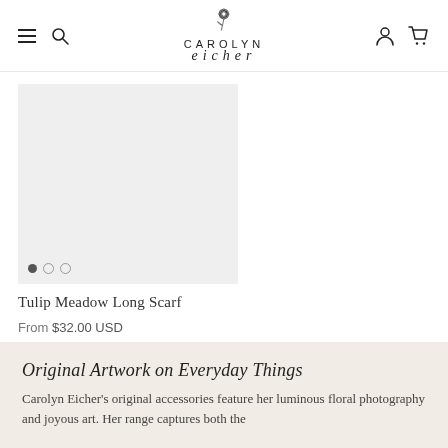Carolyn Eicher — navigation header with hamburger, search, logo, account and cart icons
[Figure (photo): Product thumbnail image area showing light grey/white background placeholder for Tulip Meadow Long Scarf with three dot pagination indicators at bottom left]
Tulip Meadow Long Scarf
From $32.00 USD
Original Artwork on Everyday Things
Carolyn Eicher's original accessories feature her luminous floral photography and joyous art. Her range captures both the